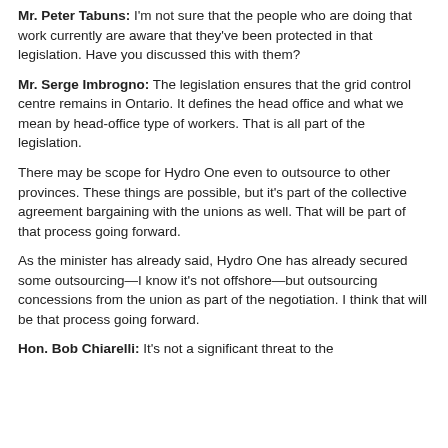Mr. Peter Tabuns: I'm not sure that the people who are doing that work currently are aware that they've been protected in that legislation. Have you discussed this with them?
Mr. Serge Imbrogno: The legislation ensures that the grid control centre remains in Ontario. It defines the head office and what we mean by head-office type of workers. That is all part of the legislation.
There may be scope for Hydro One even to outsource to other provinces. These things are possible, but it's part of the collective agreement bargaining with the unions as well. That will be part of that process going forward.
As the minister has already said, Hydro One has already secured some outsourcing—I know it's not offshore—but outsourcing concessions from the union as part of the negotiation. I think that will be that process going forward.
Hon. Bob Chiarelli: It's not a significant threat to the